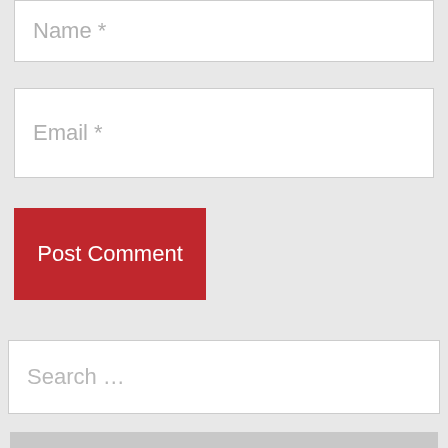Name *
Email *
Post Comment
Search …
[Figure (illustration): John Doe Bodybuilding Podcast logo with microphone and headphones on gray background. Red horizontal line above bold black text reading JOHN DOE, then BODYBUILDING (with star decorations), then PODCAST.]